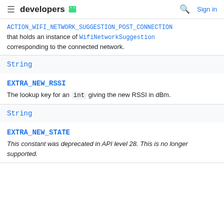developers (Android logo) | Search | Sign in
ACTION_WIFI_NETWORK_SUGGESTION_POST_CONNECTION that holds an instance of WifiNetworkSuggestion corresponding to the connected network.
String
EXTRA_NEW_RSSI
The lookup key for an int giving the new RSSI in dBm.
String
EXTRA_NEW_STATE
This constant was deprecated in API level 28. This is no longer supported.